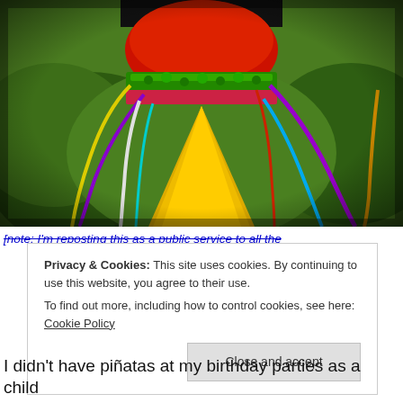[Figure (photo): Close-up photo of a colorful piñata with red, green, yellow, and multicolored streamers/ribbons hanging down, against a green leafy background. The image has a vignette/aged photo border effect.]
[note: I'm reposting this as a public service to all the
Privacy & Cookies: This site uses cookies. By continuing to use this website, you agree to their use.
To find out more, including how to control cookies, see here: Cookie Policy
Close and accept
I didn't have piñatas at my birthday parties as a child